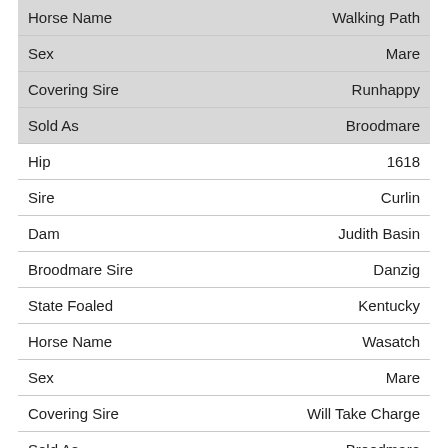| Field | Value |
| --- | --- |
| Horse Name | Walking Path |
| Sex | Mare |
| Covering Sire | Runhappy |
| Sold As | Broodmare |
| Hip | 1618 |
| Sire | Curlin |
| Dam | Judith Basin |
| Broodmare Sire | Danzig |
| State Foaled | Kentucky |
| Horse Name | Wasatch |
| Sex | Mare |
| Covering Sire | Will Take Charge |
| Sold As | Broodmare |
| Hip | 1632 |